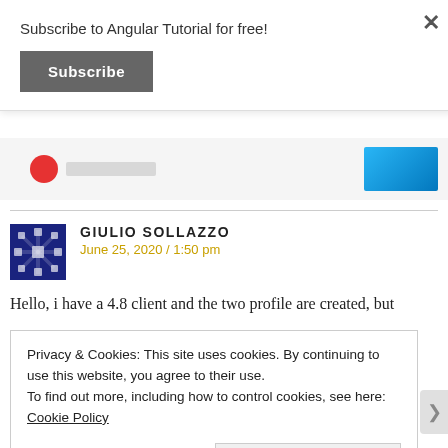Subscribe to Angular Tutorial for free!
Subscribe
[Figure (screenshot): Ad banner with red circle logo on left and blue gradient rectangle on right, with 'REPORT THIS AD' text]
GIULIO SOLLAZZO
June 25, 2020 / 1:50 pm
Hello, i have a 4.8 client and the two profile are created, but
Privacy & Cookies: This site uses cookies. By continuing to use this website, you agree to their use.
To find out more, including how to control cookies, see here: Cookie Policy
Close and accept